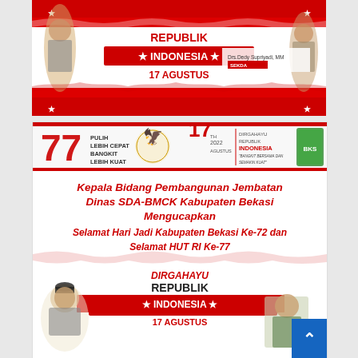[Figure (infographic): Top banner: Indonesian Independence Day greeting banner with red-white decorations, text 'REPUBLIK INDONESIA 17 AGUSTUS', illustration of founding fathers, and official named Drs. Dedy Supriyadi, MM with title SEKDA]
[Figure (infographic): Bottom banner: Indonesian Independence Day 77th (HUT RI ke-77) and Hari Jadi Kabupaten Bekasi Ke-72 greeting from Kepala Bidang Pembangunan Jembatan Dinas SDA-BMCK Kabupaten Bekasi. Header shows '77 PULIH LEBIH CEPAT BANGKIT LEBIH KUAT', '17 AGUSTUS 2022 DIRGAHAYU REPUBLIK INDONESIA', motto 'BANGKIT BERSAMA DAN SEMAKIN KUAT', Bekasi regency logo. Main text: 'Kepala Bidang Pembangunan Jembatan Dinas SDA-BMCK Kabupaten Bekasi Mengucapkan Selamat Hari Jadi Kabupaten Bekasi Ke-72 dan Selamat HUT RI Ke-77'. Bottom shows 'DIRGAHAYU REPUBLIK * INDONESIA * 17 AGUSTUS' with illustration of Soekarno and photo of official. Blue scroll-up button at bottom right.]